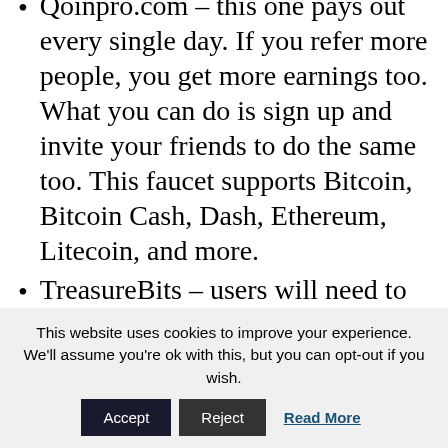Qoinpro.com – this one pays out every single day. If you refer more people, you get more earnings too. What you can do is sign up and invite your friends to do the same too. This faucet supports Bitcoin, Bitcoin Cash, Dash, Ethereum, Litecoin, and more.
TreasureBits – users will need to solve captchas every 5 minutes to earn Bitcoin, Dash, Doge, and Litecoin. You can also play games as alternative means to get
This website uses cookies to improve your experience. We'll assume you're ok with this, but you can opt-out if you wish. Accept Reject Read More